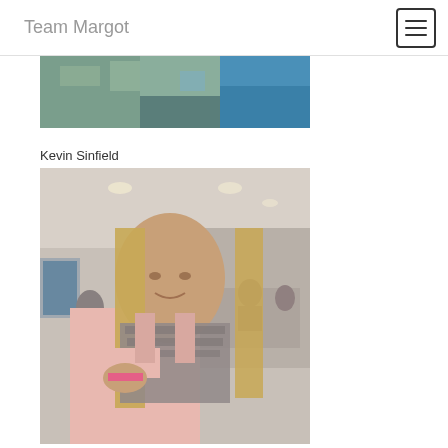Team Margot
[Figure (photo): Partial top portion of an outdoor or decorative photo, cropped at the bottom]
Kevin Sinfield
[Figure (photo): A woman with long blonde hair wearing a pink jacket and grey scarf, in a banquet hall setting, pointing or gesturing with her hand]